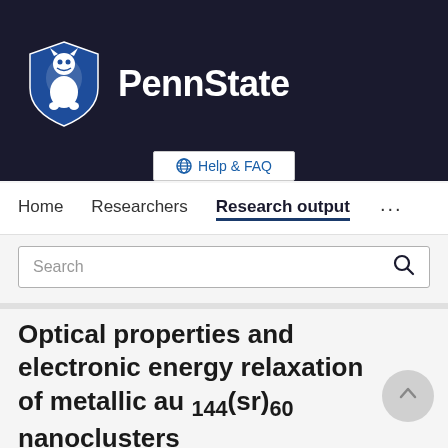[Figure (logo): Penn State university logo with lion shield and PennState wordmark on dark navy background]
Help & FAQ
Home   Researchers   Research output   ...
Search
Optical properties and electronic energy relaxation of metallic au 144(sr)60 nanoclusters